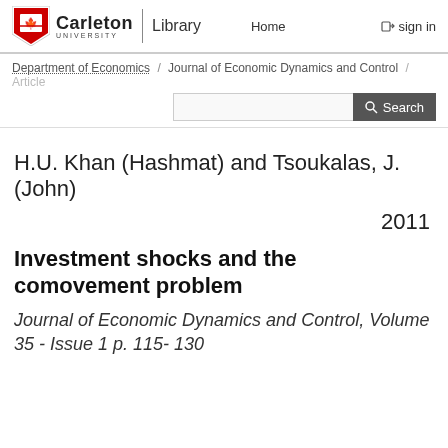Carleton University Library | Home | sign in
Department of Economics / Journal of Economic Dynamics and Control / Article
H.U. Khan (Hashmat) and Tsoukalas, J. (John)
2011
Investment shocks and the comovement problem
Journal of Economic Dynamics and Control, Volume 35 - Issue 1 p. 115- 130